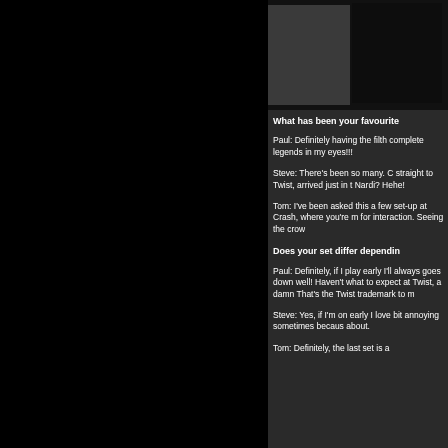[Figure (photo): Two dark photos of people in the upper right area of the page]
What has been your favourite
Paul: Definitely having the filth complete legends in my eyes!!!
Steve: There's been so many. C straight to Twist, arrived just in t Nardi? Hehe!
Tom: I've been asked this a few set-up at Crash, where you're m for interaction. Seeing the crow
Does your set differ dependin
Paul: Definitely, if I play early I'll always goes down well! Haven't what to expect at Twist, a damn That's the Twist trademark to m
Steve: Yes, if I'm on early I love bit annoying sometimes becaus about.
Tom: Definitely, the last set is a